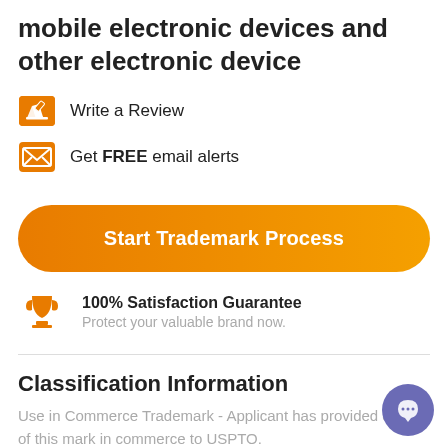mobile electronic devices and other electronic device
Write a Review
Get FREE email alerts
[Figure (other): Orange gradient pill-shaped button labeled 'Start Trademark Process']
100% Satisfaction Guarantee
Protect your valuable brand now.
Classification Information
Use in Commerce Trademark - Applicant has provided of use of this mark in commerce to USPTO.